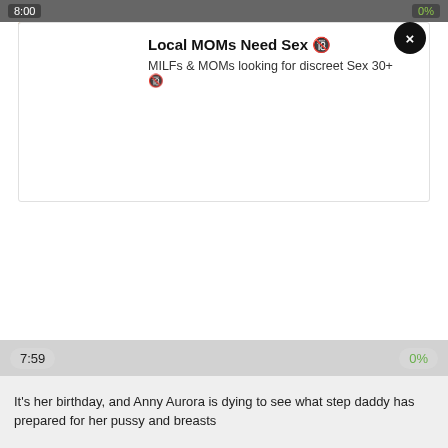8:00   0%
[Figure (photo): Advertisement banner with a photo of a woman]
Local MOMs Need Sex 🔞
MILFs & MOMs looking for discreet Sex 30+ 🔞
7:59   0%
It's her birthday, and Anny Aurora is dying to see what step daddy has prepared for her pussy and breasts